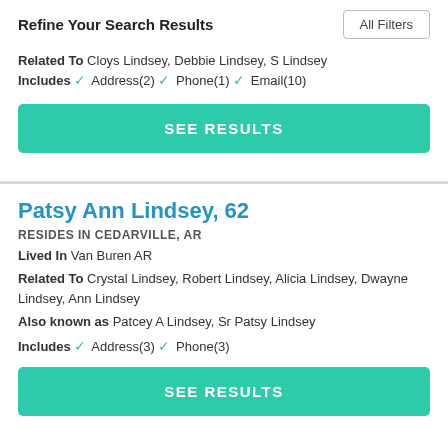Refine Your Search Results
Related To Cloys Lindsey, Debbie Lindsey, S Lindsey
Includes ✓ Address(2) ✓ Phone(1) ✓ Email(10)
SEE RESULTS
Patsy Ann Lindsey, 62
RESIDES IN CEDARVILLE, AR
Lived In Van Buren AR
Related To Crystal Lindsey, Robert Lindsey, Alicia Lindsey, Dwayne Lindsey, Ann Lindsey
Also known as Patcey A Lindsey, Sr Patsy Lindsey
Includes ✓ Address(3) ✓ Phone(3)
SEE RESULTS